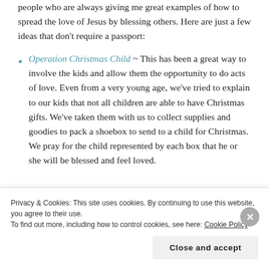people who are always giving me great examples of how to spread the love of Jesus by blessing others. Here are just a few ideas that don't require a passport:
Operation Christmas Child ~ This has been a great way to involve the kids and allow them the opportunity to do acts of love. Even from a very young age, we've tried to explain to our kids that not all children are able to have Christmas gifts. We've taken them with us to collect supplies and goodies to pack a shoebox to send to a child for Christmas. We pray for the child represented by each box that he or she will be blessed and feel loved.
Privacy & Cookies: This site uses cookies. By continuing to use this website, you agree to their use. To find out more, including how to control cookies, see here: Cookie Policy
Close and accept